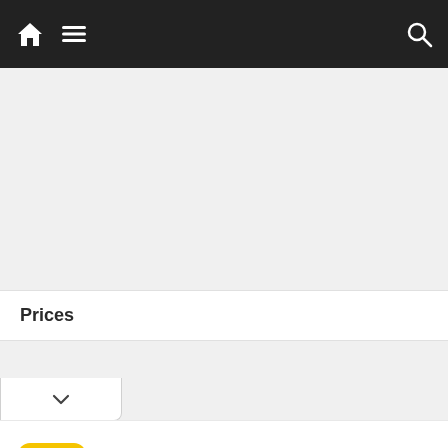Navigation bar with home, menu, and search icons
Prices
[Figure (screenshot): Chevron/collapse tab button with down arrow]
[Figure (infographic): Hair Cuttery advertisement banner: Book a Same Day Appointment, Hair Cuttery, with yellow HC logo and blue diamond arrow icon]